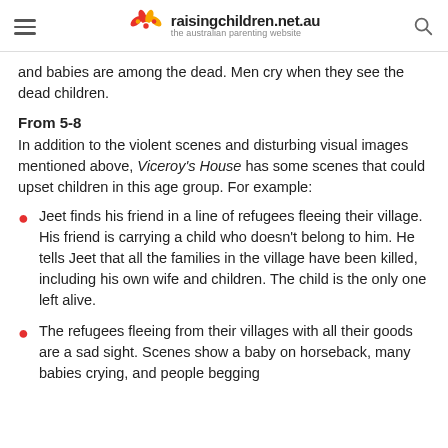raisingchildren.net.au — the australian parenting website
and babies are among the dead. Men cry when they see the dead children.
From 5-8
In addition to the violent scenes and disturbing visual images mentioned above, Viceroy's House has some scenes that could upset children in this age group. For example:
Jeet finds his friend in a line of refugees fleeing their village. His friend is carrying a child who doesn't belong to him. He tells Jeet that all the families in the village have been killed, including his own wife and children. The child is the only one left alive.
The refugees fleeing from their villages with all their goods are a sad sight. Scenes show a baby on horseback, many babies crying, and people begging